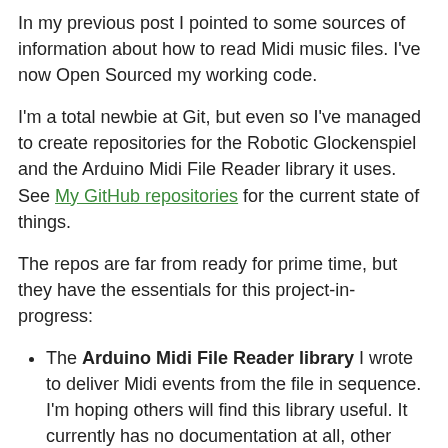In my previous post I pointed to some sources of information about how to read Midi music files. I've now Open Sourced my working code.
I'm a total newbie at Git, but even so I've managed to create repositories for the Robotic Glockenspiel and the Arduino Midi File Reader library it uses.  See My GitHub repositories for the current state of things.
The repos are far from ready for prime time, but they have the essentials for this project-in-progress:
The Arduino Midi File Reader library I wrote to deliver Midi events from the file in sequence. I'm hoping others will find this library useful. It currently has no documentation at all, other than the comments in the code.
The Fritzing circuit diagram for the glockenspiel controller so far (no physical user interface yet)
A Bill of Materials (parts list) for the electronics and a few